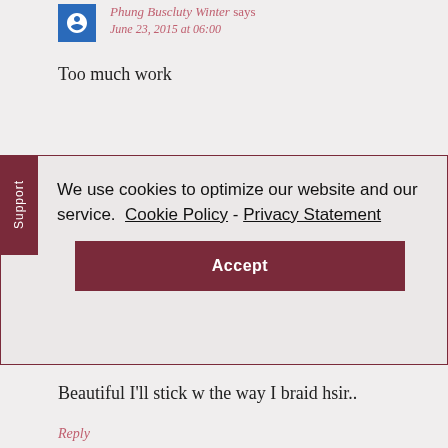Phung Buscluty Winter says June 23, 2015 at 06:00
Too much work
We use cookies to optimize our website and our service. Cookie Policy - Privacy Statement
Accept
Beautiful I'll stick w the way I braid hsir..
Reply